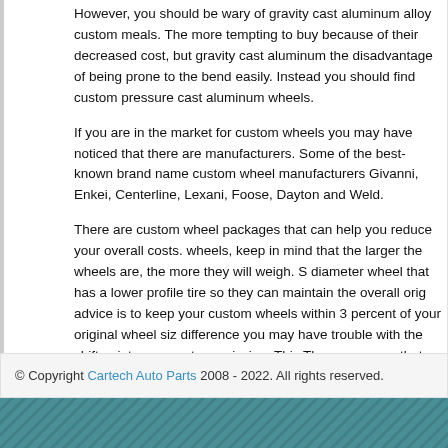However, you should be wary of gravity cast aluminum alloy custom meals. The more tempting to buy because of their decreased cost, but gravity cast aluminum the disadvantage of being prone to the bend easily. Instead you should find custom pressure cast aluminum wheels.
If you are in the market for custom wheels you may have noticed that there are manufacturers. Some of the best-known brand name custom wheel manufacturers Givanni, Enkei, Centerline, Lexani, Foose, Dayton and Weld.
There are custom wheel packages that can help you reduce your overall costs. wheels, keep in mind that the larger the wheels are, the more they will weigh. S diameter wheel that has a lower profile tire so they can maintain the overall orig advice is to keep your custom wheels within 3 percent of your original wheel siz difference you may have trouble with the shift points on your transmission. This The newer cars that have a computerized braking system may have trouble with and as a result, the cornering capability will not be as good as it should be and better to look for wider custom wheels than it is to go with a taller custom whee sportier look too.
Comments are closed.
© Copyright Cartech Auto Parts 2008 - 2022. All rights reserved.